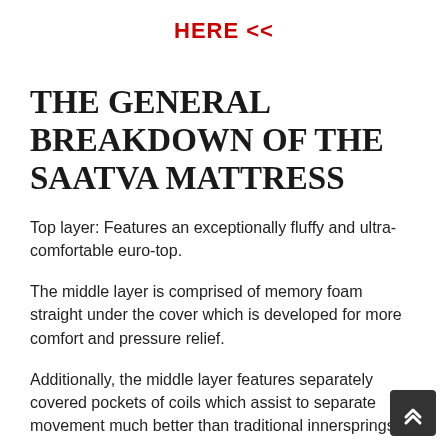HERE <<
THE GENERAL BREAKDOWN OF THE SAATVA MATTRESS
Top layer: Features an exceptionally fluffy and ultra-comfortable euro-top.
The middle layer is comprised of memory foam straight under the cover which is developed for more comfort and pressure relief.
Additionally, the middle layer features separately covered pockets of coils which assist to separate movement much better than traditional innersprings.